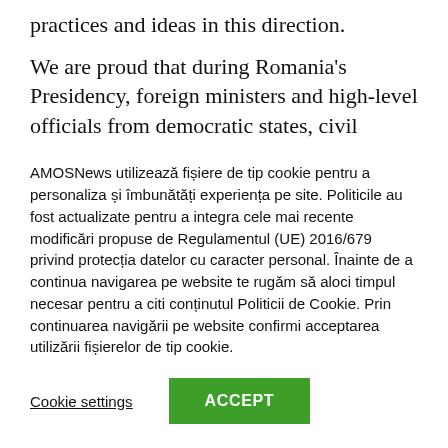practices and ideas in this direction.
We are proud that during Romania's Presidency, foreign ministers and high-level officials from democratic states, civil society representatives, and youth gathered at the 10th Ministerial Conference of the Community of Democracies, which I hosted in New York, in the margins of the High-level segment of the 76th session of the
AMOSNews utilizează fișiere de tip cookie pentru a personaliza și îmbunătăți experiența pe site. Politicile au fost actualizate pentru a integra cele mai recente modificări propuse de Regulamentul (UE) 2016/679 privind protecția datelor cu caracter personal. Înainte de a continua navigarea pe website te rugăm să aloci timpul necesar pentru a citi conținutul Politicii de Cookie. Prin continuarea navigării pe website confirmi acceptarea utilizării fișierelor de tip cookie.
Cookie settings
ACCEPT